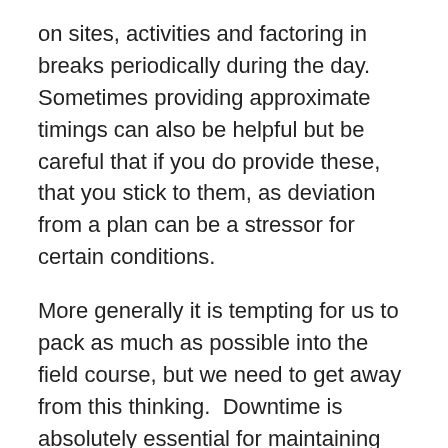on sites, activities and factoring in breaks periodically during the day.  Sometimes providing approximate timings can also be helpful but be careful that if you do provide these, that you stick to them, as deviation from a plan can be a stressor for certain conditions.
More generally it is tempting for us to pack as much as possible into the field course, but we need to get away from this thinking.  Downtime is absolutely essential for maintaining wellbeing for all, however people choose to spend this.  Field courses can be very intense and require close contact with other people for much of the time. This can be extremely challenging for many people and therefore allowing space in the timetable for ‘alone’ time is advisable. It would also be helpful to provide at least one designated quiet room in the accommodation for people to use for this purpose.  It may also be helpful to provide a